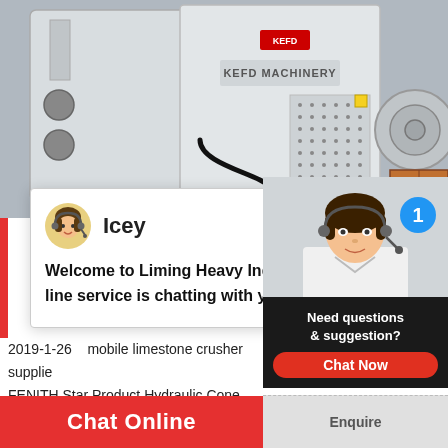[Figure (photo): Large white industrial impact crusher machine labeled 'KEFD MACHINERY' with cables, perforated panels, and mechanical components on factory floor]
[Figure (screenshot): Live chat popup overlay with avatar of Icey (customer service agent), bold name 'Icey', and message: 'Welcome to Liming Heavy Industry! Now our online service is chatting with you! Please choose the language:' with close X button]
2019-1-26   mobile limestone crusher supplie... FENITH Star Product Hydraulic Cone Crush... can be used for secondary and fine crushing o... with hard and medium hardness. ... Shanghai
[Figure (photo): Customer support widget in bottom-right corner showing female agent with headset, badge with number 1, dark panel with text 'Need questions & suggestion?' and red 'Chat Now' button]
Chat Online